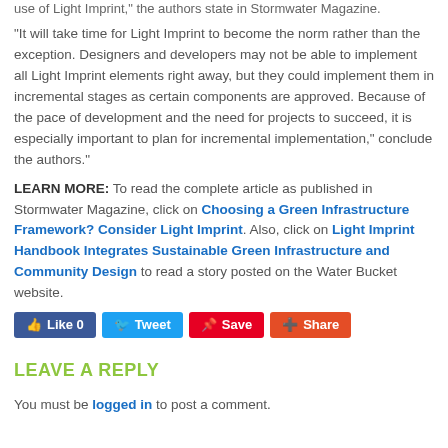use of Light Imprint," the authors state in Stormwater Magazine.
“It will take time for Light Imprint to become the norm rather than the exception. Designers and developers may not be able to implement all Light Imprint elements right away, but they could implement them in incremental stages as certain components are approved. Because of the pace of development and the need for projects to succeed, it is especially important to plan for incremental implementation,” conclude the authors.”
LEARN MORE: To read the complete article as published in Stormwater Magazine, click on Choosing a Green Infrastructure Framework? Consider Light Imprint. Also, click on Light Imprint Handbook Integrates Sustainable Green Infrastructure and Community Design to read a story posted on the Water Bucket website.
[Figure (other): Social sharing buttons: Like 0 (Facebook), Tweet (Twitter), Save (Pinterest), Share (Google+)]
LEAVE A REPLY
You must be logged in to post a comment.